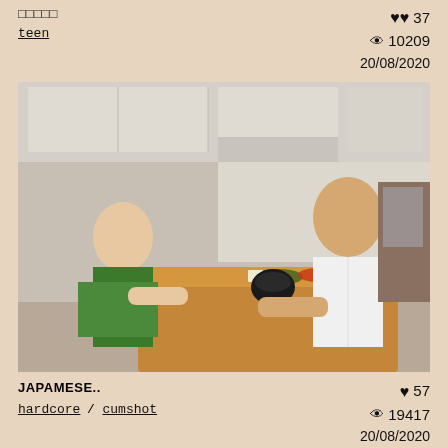□□□□□
♥ 37  👁 10209  20/08/2020
teen
[Figure (photo): Two people sitting at a dining table with food, in a kitchen setting. One person wearing green, the other in a white shirt.]
JAPAMESE..
♥ 57  👁 19417  20/08/2020
hardcore / cumshot
[Figure (photo): Partial view of another video thumbnail at the bottom of the page.]